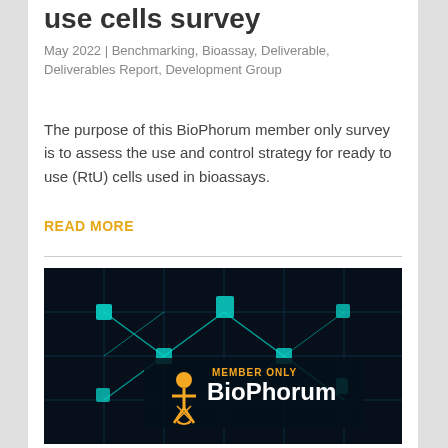use cells survey
May 2022 | Benchmarking, Bioassay, Deliverable, Deliverables Report, Development Group
The purpose of this BioPhorum member only survey is to assess the use and control strategy for ready to use (RtU) cells used in bioassays.
READ MORE
[Figure (photo): BioPhorum Member Only branded image with dark teal network/tech circuit board background with glowing cyan icons and BioPhorum logo with orange figure and text 'BioPhorum' in white, 'MEMBER ONLY' in orange above.]